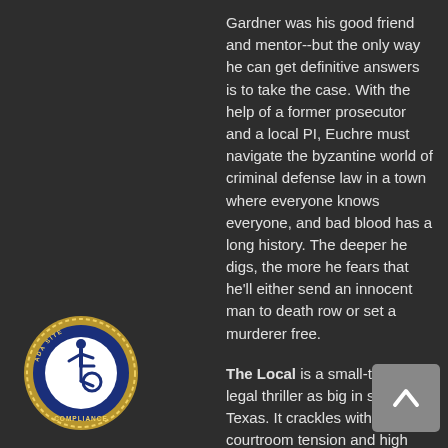Gardner was his good friend and mentor--but the only way he can get definitive answers is to take the case. With the help of a former prosecutor and a local PI, Euchre must navigate the byzantine world of criminal defense law in a town where everyone knows everyone, and bad blood has a long history. The deeper he digs, the more he fears that he'll either send an innocent man to death row or set a murderer free.
The Local is a small-town legal thriller as big in scope as Texas. It crackles with courtroom tension and high stakes gambits on every page to the final, shocking verdict. (Doubleday Books)
[Figure (logo): ADA Site Compliance badge — circular gold-bordered seal with blue background, wheelchair accessibility symbol in center, text reading ADA SITE COMPLIANCE around the border]